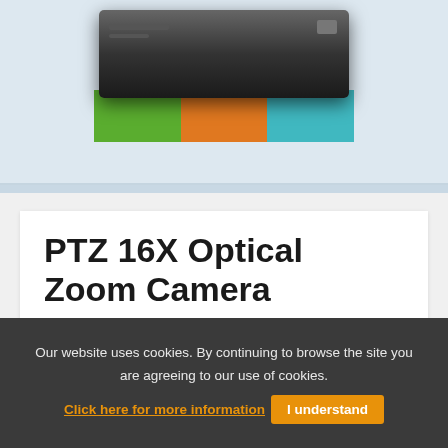[Figure (photo): Product image of a black flat device (EVC300) placed above colorful green, orange, and teal color blocks, on a light blue background.]
PTZ 16X Optical Zoom Camera
The EVC300’s impressive full HD PTZ camera with 16X optical zoom accompanied with +/-100° pan and +/-25° tilt, allows for clear close-ups of participants in large conference rooms.
Our website uses cookies. By continuing to browse the site you are agreeing to our use of cookies. Click here for more information  I understand